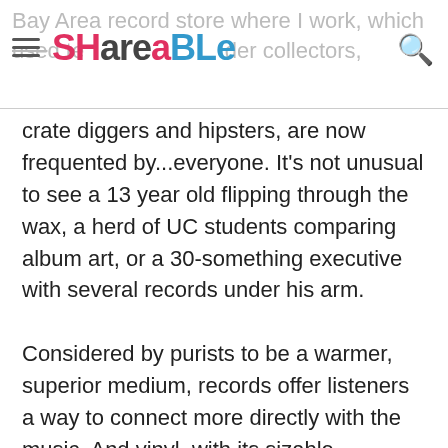Bay Area record store where I work, which used to attract mostly older collectors, SHAREaBLe [logo]
crate diggers and hipsters, are now frequented by...everyone. It's not unusual to see a 13 year old flipping through the wax, a herd of UC students comparing album art, or a 30-something executive with several records under his arm.

Considered by purists to be a warmer, superior medium, records offer listeners a way to connect more directly with the music. And vinyl, with its sizable packaging, flip-it-over format and visible grooves, is a hands-